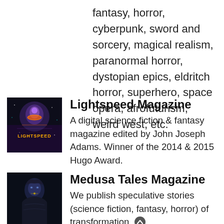fantasy, horror, cyberpunk, sword and sorcery, magical realism, paranormal horror, dystopian epics, eldritch horror, superhero, space opera, afrofuturism, weird west, etc.
[Figure (illustration): Lightspeed Magazine cover thumbnail with colorful sci-fi imagery and the word LIGHTSPEED]
Lightspeed Magazine
A digital science fiction & fantasy magazine edited by John Joseph Adams. Winner of the 2014 & 2015 Hugo Award.
[Figure (illustration): Medusa Tales Magazine thumbnail with a woman figure]
Medusa Tales Magazine
We publish speculative stories (science fiction, fantasy, horror) of transformation